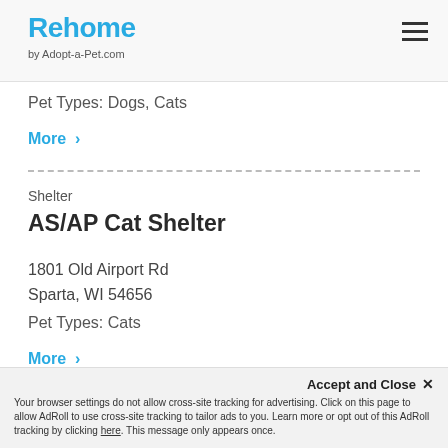Rehome by Adopt-a-Pet.com
Pet Types: Dogs, Cats
More >
Shelter
AS/AP Cat Shelter
1801 Old Airport Rd
Sparta, WI 54656
Pet Types: Cats
More >
Accept and Close ×
Your browser settings do not allow cross-site tracking for advertising. Click on this page to allow AdRoll to use cross-site tracking to tailor ads to you. Learn more or opt out of this AdRoll tracking by clicking here. This message only appears once.